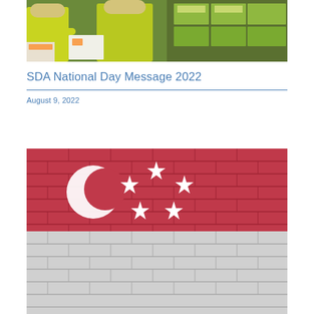[Figure (photo): Workers in yellow shirts handling boxes and packages in a warehouse or distribution center, with stacked goods in the background]
SDA National Day Message 2022
August 9, 2022
[Figure (photo): Singapore national flag painted on a brick wall, showing the red and white horizontal stripes with a white crescent moon and five stars on the red upper half]